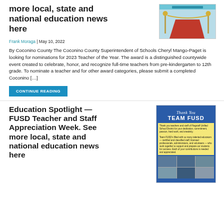more local, state and national education news here
[Figure (illustration): Thumbnail image with red carpet and award stands illustration]
Frank Moraga | May 10, 2022
By Coconino County The Coconino County Superintendent of Schools Cheryl Mango-Paget is looking for nominations for 2023 Teacher of the Year. The award is a distinguished countywide event created to celebrate, honor, and recognize full-time teachers from pre-kindergarten to 12th grade. To nominate a teacher and for other award categories, please submit a completed Coconino […]
CONTINUE READING
Education Spotlight — FUSD Teacher and Staff Appreciation Week. See more local, state and national education news here
[Figure (photo): Thank You TEAM FUSD appreciation flyer with staff photos collage]